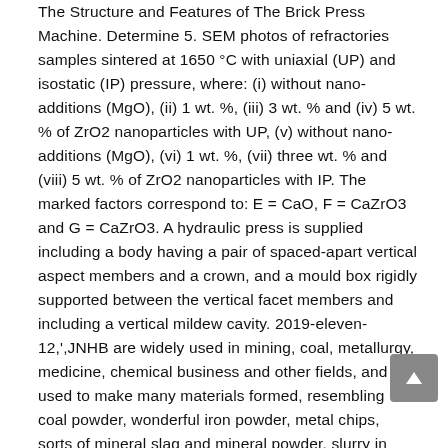The Structure and Features of The Brick Press Machine. Determine 5. SEM photos of refractories samples sintered at 1650 °C with uniaxial (UP) and isostatic (IP) pressure, where: (i) without nano-additions (MgO), (ii) 1 wt. %, (iii) 3 wt. % and (iv) 5 wt. % of ZrO2 nanoparticles with UP, (v) without nano-additions (MgO), (vi) 1 wt. %, (vii) three wt. % and (viii) 5 wt. % of ZrO2 nanoparticles with IP. The marked factors correspond to: E = CaO, F = CaZrO3 and G = CaZrO3. A hydraulic press is supplied including a body having a pair of spaced-apart vertical aspect members and a crown, and a mould box rigidly supported between the vertical facet members and including a vertical mildew cavity. 2019-eleven-12,',JNHB are widely used in mining, coal, metallurgy, medicine, chemical business and other fields, and used to make many materials formed, resembling coal powder, wonderful iron powder, metal chips, sorts of mineral slag and mineral powder, slurry in metallurgy, coal slurry, magnesium materials, refractory materials and others. The strategy is predicated on chilly urgent of the